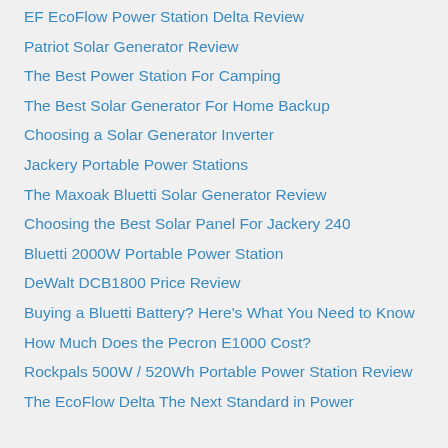EF EcoFlow Power Station Delta Review
Patriot Solar Generator Review
The Best Power Station For Camping
The Best Solar Generator For Home Backup
Choosing a Solar Generator Inverter
Jackery Portable Power Stations
The Maxoak Bluetti Solar Generator Review
Choosing the Best Solar Panel For Jackery 240
Bluetti 2000W Portable Power Station
DeWalt DCB1800 Price Review
Buying a Bluetti Battery? Here's What You Need to Know
How Much Does the Pecron E1000 Cost?
Rockpals 500W / 520Wh Portable Power Station Review
The EcoFlow Delta The Next Standard in Power